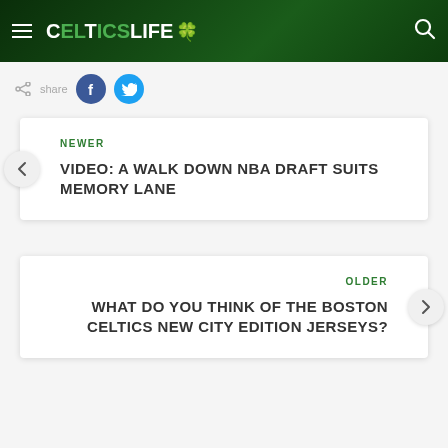CelticsLife
Share
NEWER
VIDEO: A WALK DOWN NBA DRAFT SUITS MEMORY LANE
OLDER
WHAT DO YOU THINK OF THE BOSTON CELTICS NEW CITY EDITION JERSEYS?